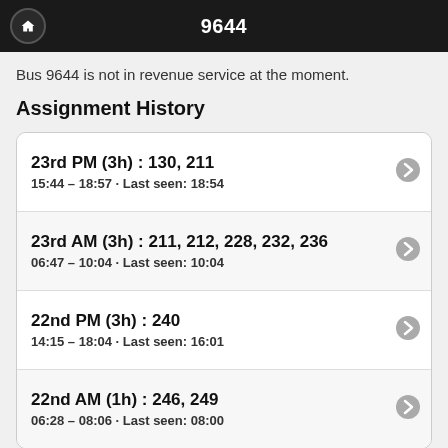9644
Bus 9644 is not in revenue service at the moment.
Assignment History
23rd PM (3h) : 130, 211
15:44 – 18:57 · Last seen: 18:54
23rd AM (3h) : 211, 212, 228, 232, 236
06:47 – 10:04 · Last seen: 10:04
22nd PM (3h) : 240
14:15 – 18:04 · Last seen: 16:01
22nd AM (1h) : 246, 249
06:28 – 08:06 · Last seen: 08:00